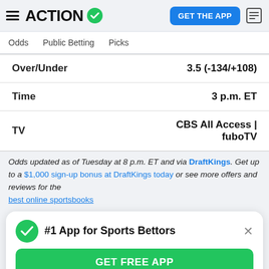ACTION (logo with checkmark) | GET THE APP button
Odds  Public Betting  Picks
|  |  |
| --- | --- |
| Over/Under | 3.5 (-134/+108) |
| Time | 3 p.m. ET |
| TV | CBS All Access | fuboTV |
Odds updated as of Tuesday at 8 p.m. ET and via DraftKings. Get up to a $1,000 sign-up bonus at DraftKings today or see more offers and reviews for the best online sportsbooks
#1 App for Sports Bettors  GET FREE APP
Barcelona enters this match atop the Group C table, sitting